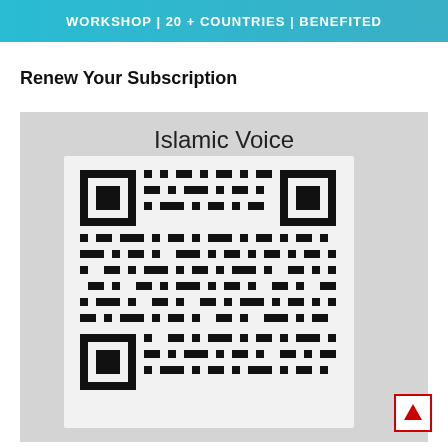[Figure (infographic): Teal banner with text: WORKSHOP | 20 + COUNTRIES | BENEFITED]
Renew Your Subscription
[Figure (photo): Photo of an Islamic Voice QR code on a light gray background, with 'Islamic Voice' text above the QR code]